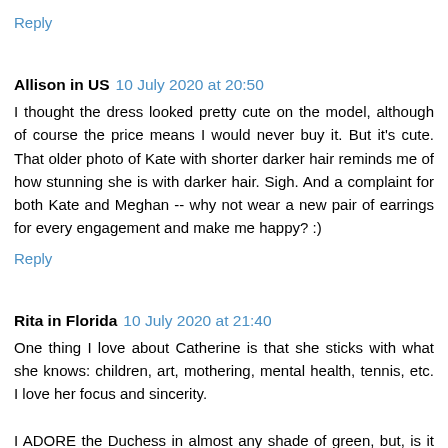Reply
Allison in US   10 July 2020 at 20:50
I thought the dress looked pretty cute on the model, although of course the price means I would never buy it. But it's cute. That older photo of Kate with shorter darker hair reminds me of how stunning she is with darker hair. Sigh. And a complaint for both Kate and Meghan -- why not wear a new pair of earrings for every engagement and make me happy? :)
Reply
Rita in Florida   10 July 2020 at 21:40
One thing I love about Catherine is that she sticks with what she knows: children, art, mothering, mental health, tennis, etc. I love her focus and sincerity.
I ADORE the Duchess in almost any shade of green, but, is it me or is this dress just a bit much? This takes theme